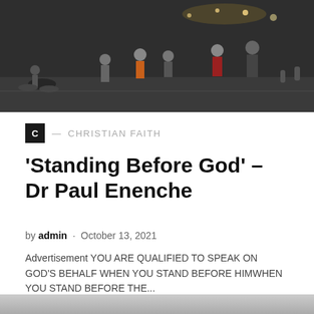[Figure (photo): Outdoor nighttime scene with people walking in a public square or plaza, lights visible in the background]
C — CHRISTIAN FAITH
'Standing Before God' – Dr Paul Enenche
by admin · October 13, 2021
Advertisement YOU ARE QUALIFIED TO SPEAK ON GOD'S BEHALF WHEN YOU STAND BEFORE HIMWHEN YOU STAND BEFORE THE...
[Figure (photo): Partially visible photo at the bottom of the page]